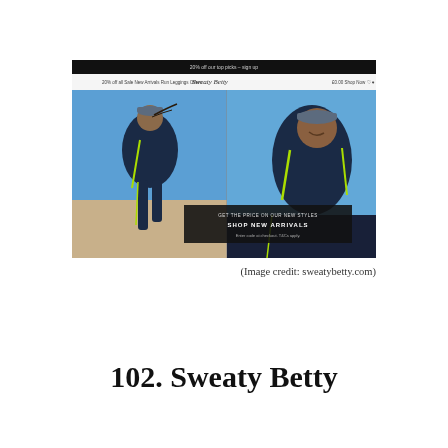[Figure (screenshot): Screenshot of the Sweaty Betty website showing a woman running in a dark blue athletic jacket with neon green accents against a bright blue sky and sandy landscape, with website navigation bar at top and a promotional overlay at the bottom.]
(Image credit: sweatybetty.com)
102. Sweaty Betty